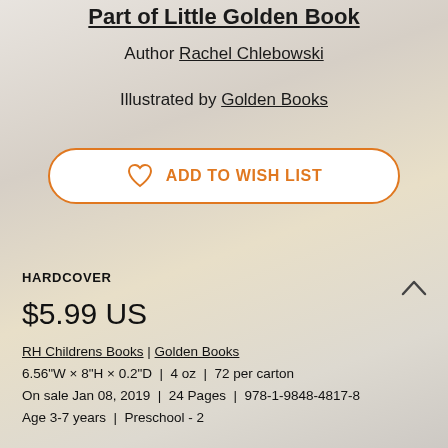Part of Little Golden Book
Author Rachel Chlebowski
Illustrated by Golden Books
ADD TO WISH LIST
HARDCOVER
$5.99 US
RH Childrens Books | Golden Books
6.56"W × 8"H × 0.2"D  |  4 oz  |  72 per carton
On sale Jan 08, 2019  |  24 Pages  |  978-1-9848-4817-8
Age 3-7 years  |  Preschool - 2